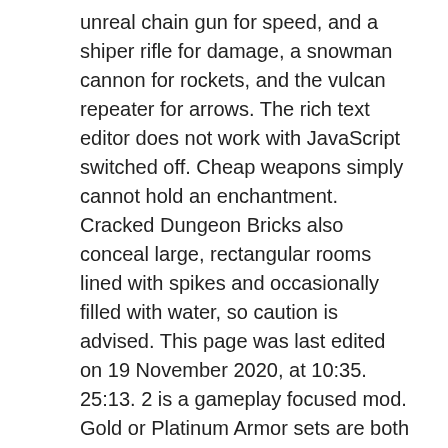unreal chain gun for speed, and a shiper rifle for damage, a snowman cannon for rockets, and the vulcan repeater for arrows. The rich text editor does not work with JavaScript switched off. Cheap weapons simply cannot hold an enchantment. Cracked Dungeon Bricks also conceal large, rectangular rooms lined with spikes and occasionally filled with water, so caution is advised. This page was last edited on 19 November 2020, at 10:35. 25:13. 2 is a gameplay focused mod. Gold or Platinum Armor sets are both a great choice when you're gearing up and preparing for killing some of the easier bosses. Once you have those things, get out. Best guns (the best hardmode post-plantera ranged weapons) From: SnowyOwl1223. Keybrand Después de matar a los 3 jefes mecánicos empezarán a aparecer bulbos de Plantera dentro de la selva subterránea, este brilla rojo en la oscuridad. The tooltip "Breab...